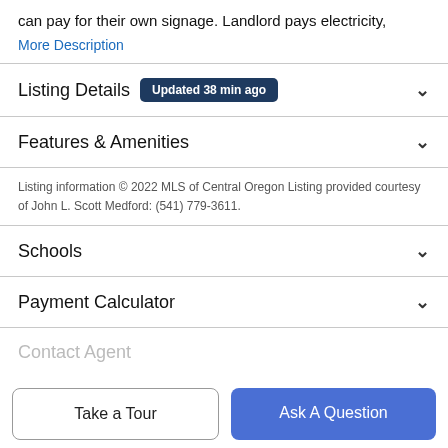can pay for their own signage. Landlord pays electricity,
More Description
Listing Details  Updated 38 min ago
Features & Amenities
Listing information © 2022 MLS of Central Oregon Listing provided courtesy of John L. Scott Medford: (541) 779-3611.
Schools
Payment Calculator
Contact Agent
Take a Tour
Ask A Question